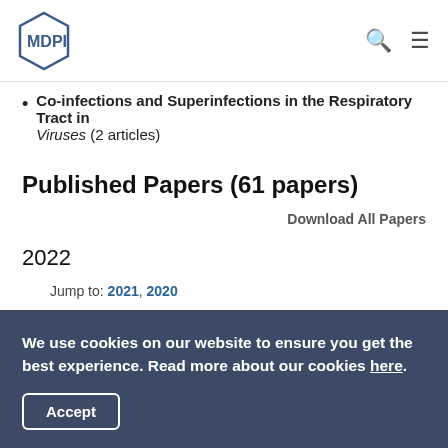MDPI
Co-infections and Superinfections in the Respiratory Tract in Viruses (2 articles)
Published Papers (61 papers)
Download All Papers
2022
Jump to: 2021, 2020
Open Access  Article
We use cookies on our website to ensure you get the best experience. Read more about our cookies here.
Accept